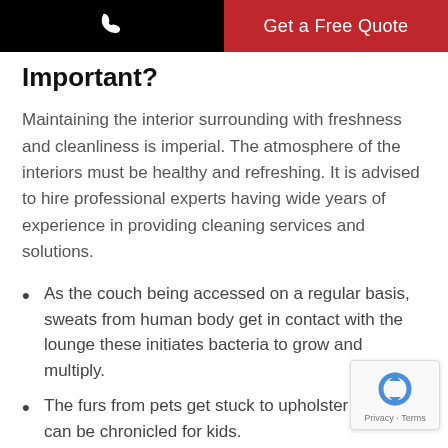Get a Free Quote
Important?
Maintaining the interior surrounding with freshness and cleanliness is imperial. The atmosphere of the interiors must be healthy and refreshing. It is advised to hire professional experts having wide years of experience in providing cleaning services and solutions.
As the couch being accessed on a regular basis, sweats from human body get in contact with the lounge these initiates bacteria to grow and multiply.
The furs from pets get stuck to upholster which can be chronicled for kids.
Dust and mould get trapped on the upholsterers which can't be identified without a close eye and may cause...